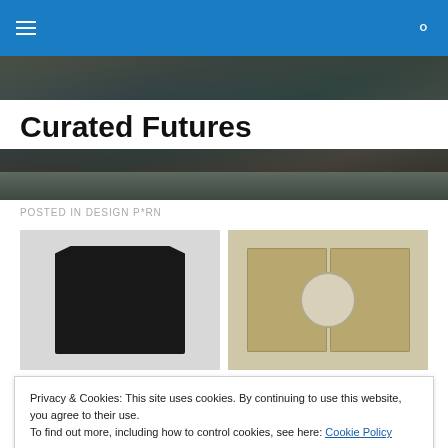Navigation bar with hamburger menu and search icon
[Figure (photo): Hero banner image showing abstract dark textured background with teal and brown tones]
Curated Futures
POSTED IN DESIGN P*RN
[Figure (photo): Two book objects side by side: a dark closed book on the left and an open book with circular cutout on the right, on a light gray background]
Privacy & Cookies: This site uses cookies. By continuing to use this website, you agree to their use.
To find out more, including how to control cookies, see here: Cookie Policy
[Figure (photo): Bottom strip showing partial view of more book objects]